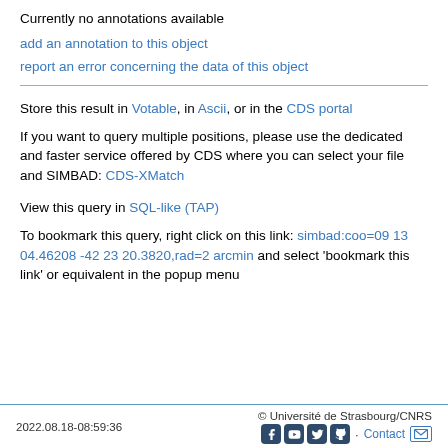Currently no annotations available
add an annotation to this object
report an error concerning the data of this object
Store this result in Votable, in Ascii, or in the CDS portal
If you want to query multiple positions, please use the dedicated and faster service offered by CDS where you can select your file and SIMBAD: CDS-XMatch
View this query in SQL-like (TAP)
To bookmark this query, right click on this link: simbad:coo=09 13 04.46208 -42 23 20.3820,rad=2 arcmin and select 'bookmark this link' or equivalent in the popup menu
2022.08.18-08:59:36   © Université de Strasbourg/CNRS   Contact